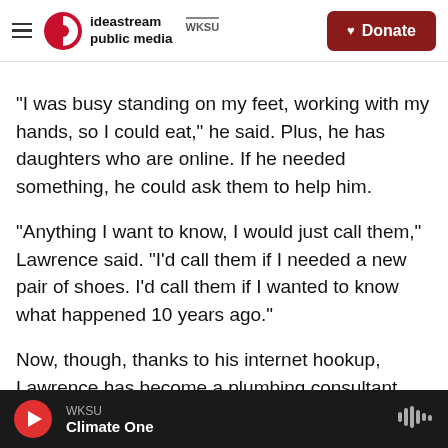ideastream public media | WKSU | Donate
“I was busy standing on my feet, working with my hands, so I could eat,” he said. Plus, he has daughters who are online. If he needed something, he could ask them to help him.
“Anything I want to know, I would just call them,” Lawrence said. “I’d call them if I needed a new pair of shoes. I’d call them if I wanted to know what happened 10 years ago.”
Now, though, thanks to his internet hookup, Lawrence has become a plumbing consultant. When potential customers call, he uses the Web to
WKSU | Climate One